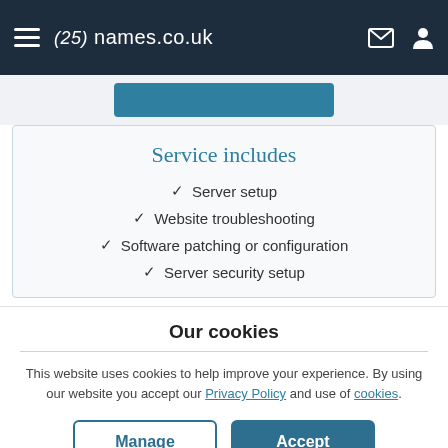(25) names.co.uk
Service includes
Server setup
Website troubleshooting
Software patching or configuration
Server security setup
Our cookies
This website uses cookies to help improve your experience. By using our website you accept our Privacy Policy and use of cookies.
Manage | Accept